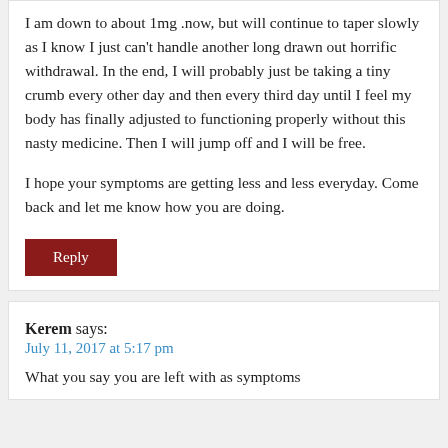I am down to about 1mg .now, but will continue to taper slowly as I know I just can't handle another long drawn out horrific withdrawal. In the end, I will probably just be taking a tiny crumb every other day and then every third day until I feel my body has finally adjusted to functioning properly without this nasty medicine. Then I will jump off and I will be free.

I hope your symptoms are getting less and less everyday. Come back and let me know how you are doing.
Reply
Kerem says:
July 11, 2017 at 5:17 pm
What you say you are left with as symptoms